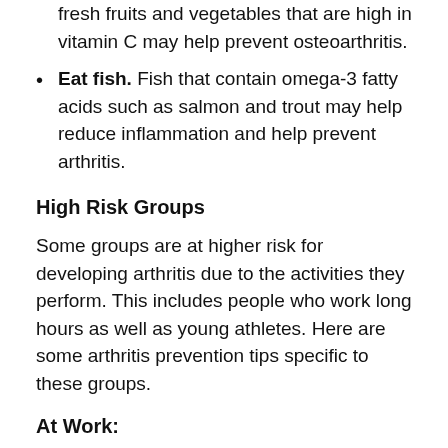fresh fruits and vegetables that are high in vitamin C may help prevent osteoarthritis.
Eat fish. Fish that contain omega-3 fatty acids such as salmon and trout may help reduce inflammation and help prevent arthritis.
High Risk Groups
Some groups are at higher risk for developing arthritis due to the activities they perform. This includes people who work long hours as well as young athletes. Here are some arthritis prevention tips specific to these groups.
At Work:
When sitting, use a chair that fully supports your lower and mid-back. If you are using a